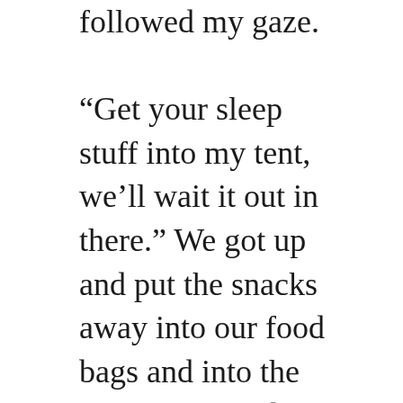followed my gaze.

“Get your sleep stuff into my tent, we’ll wait it out in there.” We got up and put the snacks away into our food bags and into the hatches of our boats. I